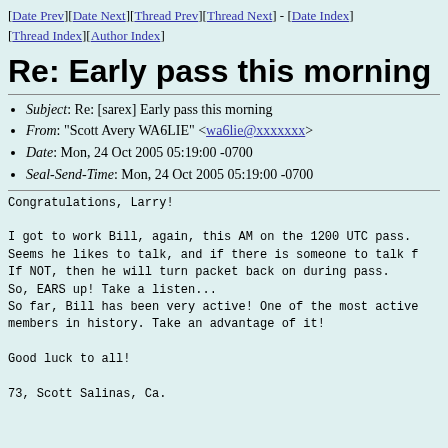[Date Prev][Date Next][Thread Prev][Thread Next] - [Date Index][Thread Index][Author Index]
Re: Early pass this morning
Subject: Re: [sarex] Early pass this morning
From: "Scott Avery WA6LIE" <wa6lie@xxxxxxx>
Date: Mon, 24 Oct 2005 05:19:00 -0700
Seal-Send-Time: Mon, 24 Oct 2005 05:19:00 -0700
Congratulations, Larry!

I got to work Bill, again, this AM on the 1200 UTC pass.
Seems he likes to talk, and if there is someone to talk f
If NOT, then he will turn packet back on during pass.
So, EARS up! Take a listen...
So far, Bill has been very active! One of the most active
members in history. Take an advantage of it!

Good luck to all!

73, Scott Salinas, Ca.